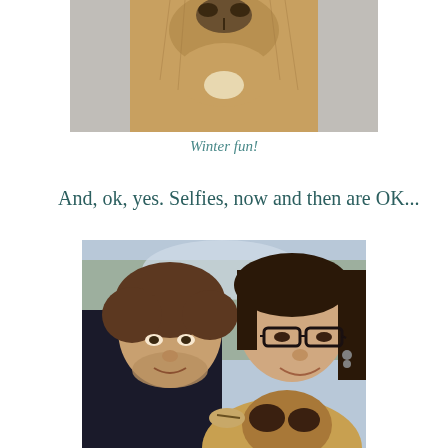[Figure (photo): Close-up photo of a dog's nose/snout from above, partial view, grey/beige background]
Winter fun!
And, ok, yes. Selfies, now and then are OK...
[Figure (photo): Outdoor selfie of a young man with curly brown hair and a woman with glasses and dark hair, with a dog's snout visible in the foreground, trees in background]